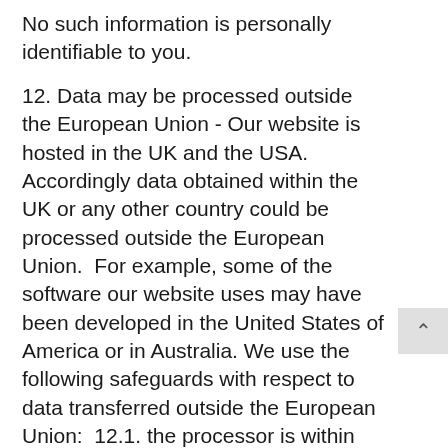No such information is personally identifiable to you.
12. Data may be processed outside the European Union - Our website is hosted in the UK and the USA. Accordingly data obtained within the UK or any other country could be processed outside the European Union.  For example, some of the software our website uses may have been developed in the United States of America or in Australia. We use the following safeguards with respect to data transferred outside the European Union:  12.1. the processor is within the same corporate group as our business or organisation and abides by the same binding corporate rules regarding data processing. 12.2. the data protection clauses in our contracts with data processors include transfer clauses written by or approved by a supervisory authority in the European Union.  12.3. we comply with a code of conduct approved by a supervisory authority in the